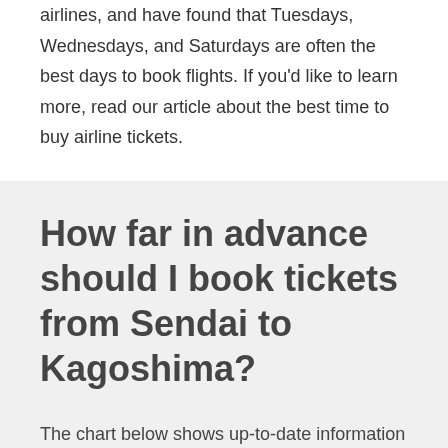airlines, and have found that Tuesdays, Wednesdays, and Saturdays are often the best days to book flights. If you'd like to learn more, read our article about the best time to buy airline tickets.
How far in advance should I book tickets from Sendai to Kagoshima?
The chart below shows up-to-date information regarding how far in advance to book your flight from Sendai to Kagoshima.